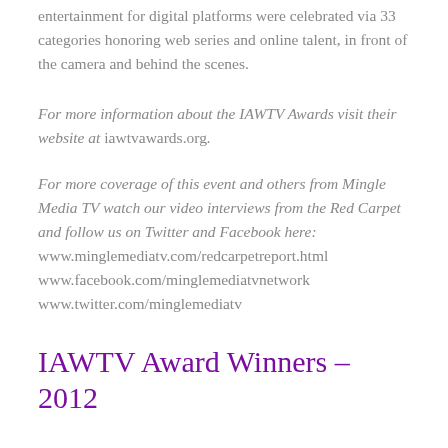entertainment for digital platforms were celebrated via 33 categories honoring web series and online talent, in front of the camera and behind the scenes.
For more information about the IAWTV Awards visit their website at iawtvawards.org.
For more coverage of this event and others from Mingle Media TV watch our video interviews from the Red Carpet and follow us on Twitter and Facebook here: www.minglemediatv.com/redcarpetreport.html www.facebook.com/minglemediatvnetwork www.twitter.com/minglemediatv
IAWTV Award Winners – 2012
Mingle Media TV would like to congratulate the winners of the inaugural IAWTV Awards – especially to Kristyn Ro...